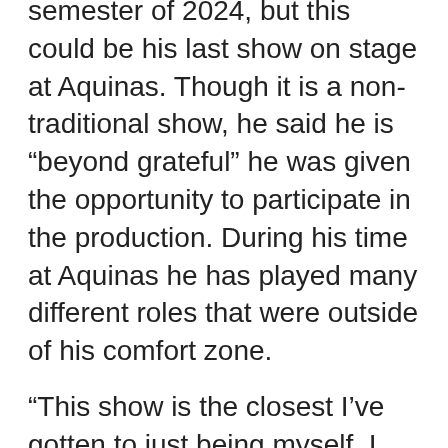semester of 2024, but this could be his last show on stage at Aquinas. Though it is a non-traditional show, he said he is “beyond grateful” he was given the opportunity to participate in the production. During his time at Aquinas he has played many different roles that were outside of his comfort zone.
“This show is the closest I’ve gotten to just being myself. I get to be unabashedly gay, and talk about the joys and the insecurities that come up when you spend years unable to share that part of yourself with others. I can’t say I’ve been able to do that before at Aquinas. It’s nice to have this moment now,” said Cogswell.